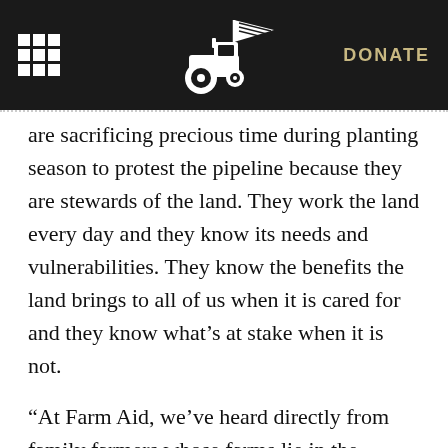DONATE
are sacrificing precious time during planting season to protest the pipeline because they are stewards of the land. They work the land every day and they know its needs and vulnerabilities. They know the benefits the land brings to all of us when it is cared for and they know what’s at stake when it is not.
“At Farm Aid, we’ve heard directly from family farmers whose farms lie in the proposed path of the Keystone XL Pipeline. Many of these farms have been in the same family for generations. Now the Keystone XL Pipeline jeopardizes the health and